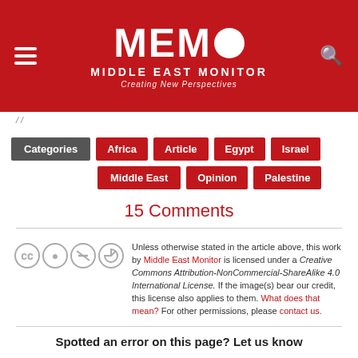MEMO Middle East Monitor — Creating New Perspectives
Categories
Africa
Article
Egypt
Israel
Middle East
Opinion
Palestine
15 Comments
Unless otherwise stated in the article above, this work by Middle East Monitor is licensed under a Creative Commons Attribution-NonCommercial-ShareAlike 4.0 International License. If the image(s) bear our credit, this license also applies to them. What does that mean? For other permissions, please contact us.
Spotted an error on this page? Let us know